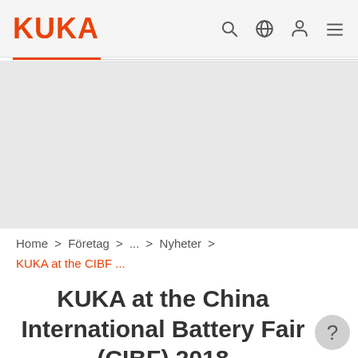KUKA
Home > Företag > ... > Nyheter >
KUKA at the CIBF ...
KUKA at the China International Battery Fair (CIBF) 2018